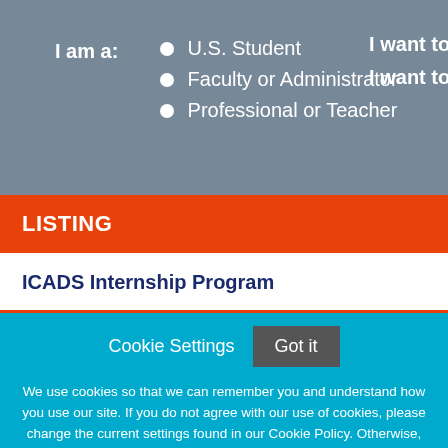I am a: • U.S. Student • Faculty or Administrator • Professional or Teacher
I want to go t… I want to stud…
LISTING
ICADS Internship Program
Cookie Settings
Got it
We use cookies so that we can remember you and understand how you use our site. If you do not agree with our use of cookies, please change the current settings found in our Cookie Policy. Otherwise, you agree to the use of the cookies as they are currently set.